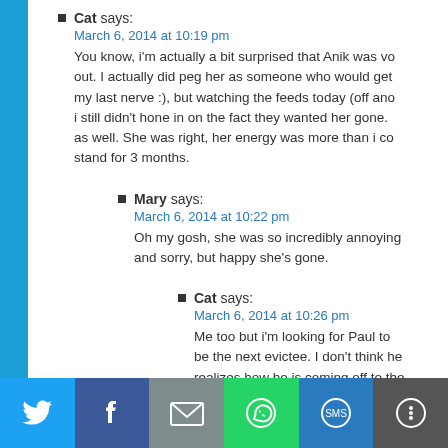Cat says: March 6, 2014 at 10:19 pm — You know, i'm actually a bit surprised that Anik was vo out. I actually did peg her as someone who would get my last nerve :), but watching the feeds today (off ano i still didn't hone in on the fact they wanted her gone. as well. She was right, her energy was more than i co stand for 3 months.
Mary says: March 6, 2014 at 10:22 pm — Oh my gosh, she was so incredibly annoying and sorry, but happy she's gone.
Cat says: March 6, 2014 at 10:26 pm — Me too but i'm looking for Paul to be the next evictee. I don't think he realizes how he is coming off to the others.
Mary says: March 6, 2014 at 10:30 pm — I'm with you 100% Cat – Paul